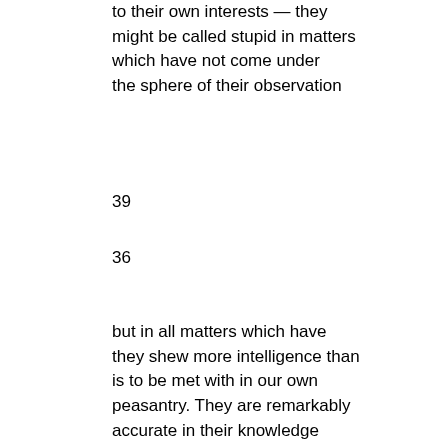to their own interests — they might be called stupid in matters which have not come under the sphere of their observation
39
36
but in all matters which have they shew more intelligence than is to be met with in our own peasantry. They are remarkably accurate in their knowledge of cattle, sheep and goats, knowing exactly the kind of